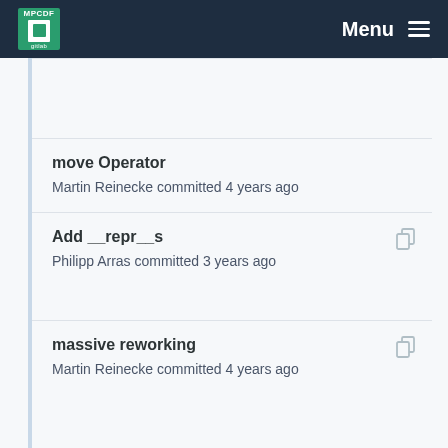MPCDF Menu
move Operator
Martin Reinecke committed 4 years ago
Add __repr__s
Philipp Arras committed 3 years ago
massive reworking
Martin Reinecke committed 4 years ago